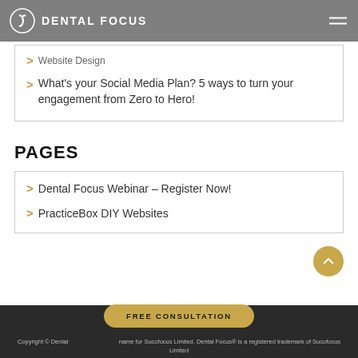DENTAL FOCUS
Website Design
What's your Social Media Plan? 5 ways to turn your engagement from Zero to Hero!
PAGES
Dental Focus Webinar – Register Now!
PracticeBox DIY Websites
FREE CONSULTATION
Copyright © Dental Focus ... name for Sucofocus Limited. Dental Focus® is a registered trademark of Sucofocus Limited